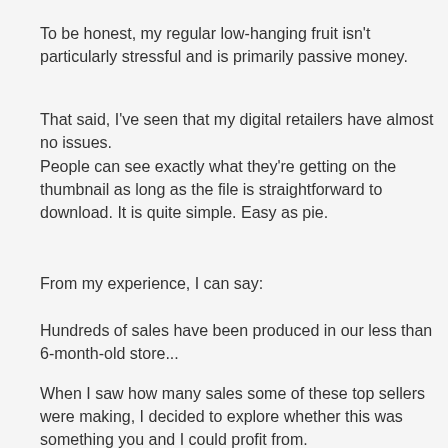To be honest, my regular low-hanging fruit isn't particularly stressful and is primarily passive money.
That said, I've seen that my digital retailers have almost no issues.
People can see exactly what they're getting on the thumbnail as long as the file is straightforward to download. It is quite simple. Easy as pie.
From my experience, I can say:
Hundreds of sales have been produced in our less than 6-month-old store...
When I saw how many sales some of these top sellers were making, I decided to explore whether this was something you and I could profit from.